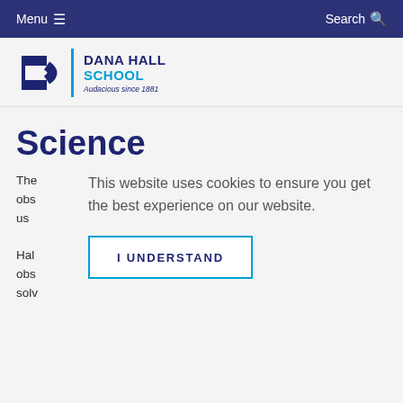Menu  Search
[Figure (logo): Dana Hall School logo with stylized D, blue vertical divider, text 'DANA HALL SCHOOL' and tagline 'Audacious since 1881']
Science
The [partially obscured text about observations and us ...] Hall [obs...] solve...
This website uses cookies to ensure you get the best experience on our website.
I UNDERSTAND
confidence to formulate and answer their own